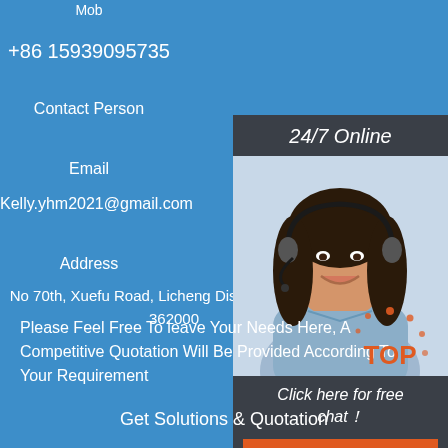Mob
+86 15939095735
Contact Person
Email
Kelly.yhm2021@gmail.com
Address
No 70th, Xuefu Road, Licheng District, Quanzhou 362000
[Figure (infographic): Customer service widget with '24/7 Online' header, photo of a woman with headset smiling, 'Click here for free chat!' text, and orange QUOTATION button]
Please Feel Free To leave Your Needs Here, A Competitive Quotation Will Be Provided According To Your Requirement
Get Solutions & Quotation